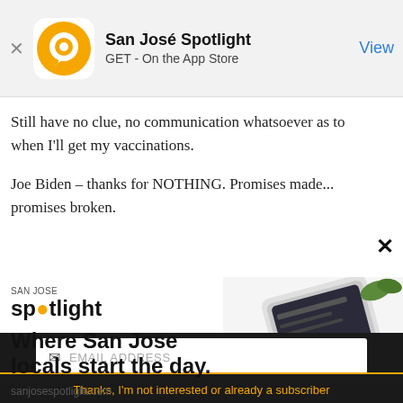[Figure (screenshot): App Store banner showing San José Spotlight app with orange circular logo, app name 'San José Spotlight', subtitle 'GET - On the App Store', and a 'View' button on the right. An X close button is on the left.]
Still have no clue, no communication whatsoever as to when I'll get my vaccinations.

Joe Biden – thanks for NOTHING. Promises made... promises broken.
[Figure (screenshot): San José Spotlight advertisement banner. Logo at top left, headline 'Where San Jose locals start the day.' and URL sanjosespotlight.com. Tablet and coffee cup image on the right.]
EMAIL ADDRESS
SUBSCRIBE
Thanks, I'm not interested or already a subscriber